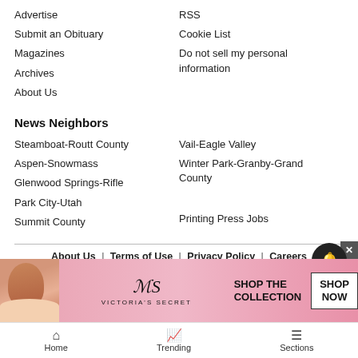Advertise
Submit an Obituary
Magazines
Archives
About Us
RSS
Cookie List
Do not sell my personal information
News Neighbors
Steamboat-Routt County
Aspen-Snowmass
Glenwood Springs-Rifle
Park City-Utah
Summit County
Vail-Eagle Valley
Winter Park-Granby-Grand County
Printing Press Jobs
About Us | Terms of Use | Privacy Policy | Careers
©2005 - 2022 Swift Communications, Inc.
[Figure (infographic): Victoria's Secret advertisement banner with model photo, VS logo, 'SHOP THE COLLECTION' text, and 'SHOP NOW' button]
Home  Trending  Sections